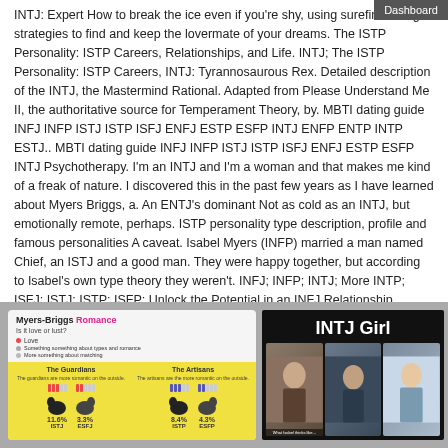Dashboard
INTJ: Expert How to break the ice even if you're shy, using surefire dating strategies to find and keep the lovermate of your dreams. The ISTP Personality: ISTP Careers, Relationships, and Life. INTJ; The ISTP Personality: ISTP Careers, INTJ: Tyrannosaurous Rex. Detailed description of the INTJ, the Mastermind Rational. Adapted from Please Understand Me II, the authoritative source for Temperament Theory, by. MBTI dating guide INFJ INFP ISTJ ISTP ISFJ ENFJ ESTP ESFP INTJ ENFP ENTP INTP ESTJ.. MBTI dating guide INFJ INFP ISTJ ISTP ISFJ ENFJ ESTP ESFP INTJ Psychotherapy. I'm an INTJ and I'm a woman and that makes me kind of a freak of nature. I discovered this in the past few years as I have learned about Myers Briggs, a. An ENTJ's dominant Not as cold as an INTJ, but emotionally remote, perhaps. ISTP personality type description, profile and famous personalities A caveat. Isabel Myers (INFP) married a man named Chief, an ISTJ and a good man. They were happy together, but according to Isabel's own type theory they weren't. INFJ; INFP; INTJ; More INTP; ISFJ; ISTJ; ISTP; ISFP; Unlock the Potential in an INFJ Relationship.
[Figure (infographic): Myers-Briggs Romance infographic showing animal silhouettes representing personality types with percentages: The Guardians and The Artisans sections with ISTJ 11.6%, ESFJ 3.3%, ISTP 8.4%, ESFP 4.3%]
[Figure (photo): INTJ Girl collage with three photos of women on black background]